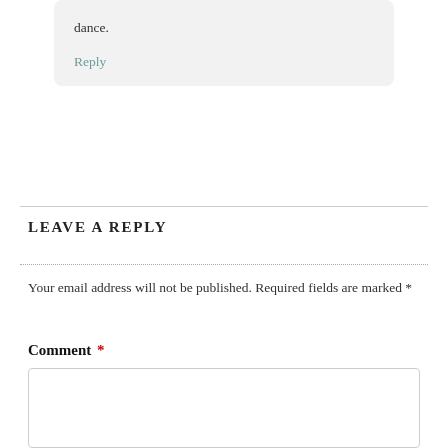dance.
Reply
LEAVE A REPLY
Your email address will not be published. Required fields are marked *
Comment *